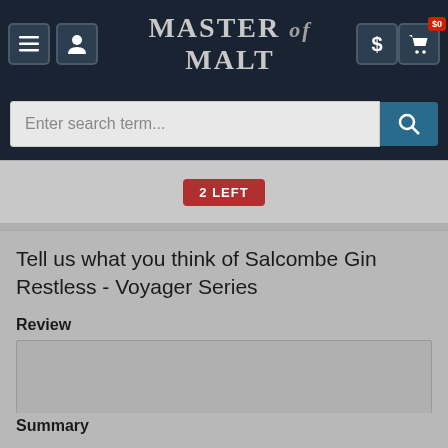MASTER of MALT
Enter search term...
2 LEFT
Tell us what you think of Salcombe Gin Restless - Voyager Series
Review
Summary